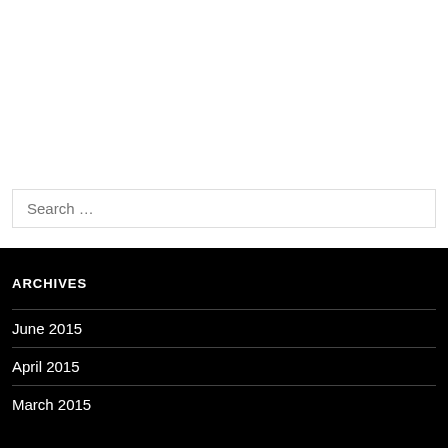Search …
ARCHIVES
June 2015
April 2015
March 2015